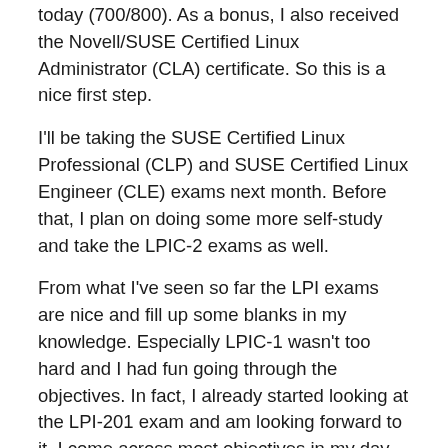today (700/800). As a bonus, I also received the Novell/SUSE Certified Linux Administrator (CLA) certificate. So this is a nice first step.
I'll be taking the SUSE Certified Linux Professional (CLP) and SUSE Certified Linux Engineer (CLE) exams next month. Before that, I plan on doing some more self-study and take the LPIC-2 exams as well.
From what I've seen so far the LPI exams are nice and fill up some blanks in my knowledge. Especially LPIC-1 wasn't too hard and I had fun going through the objectives. In fact, I already started looking at the LPI-201 exam and am looking forward to it. I come across most objectives in my day-to-day work; some more often than others of course. It's nice to learn a new command or parameter and be able to use it from then on to do your job better. That is going forward!!